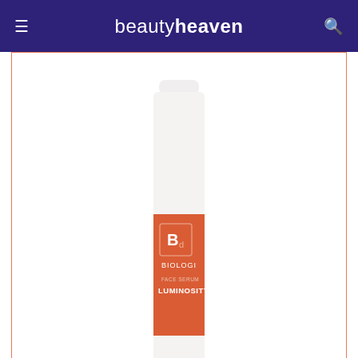beautyheaven
[Figure (photo): Biologi Bd Face Serum Luminosity product bottle — white cylindrical bottle with orange/red label showing 'Bd BIOLOGI FACE SERUM LUMINOSITY']
BUY NOW
[Figure (photo): Advertisement banner with flowers/spa items on left and text 'EASY TO INDULGE' with close button]